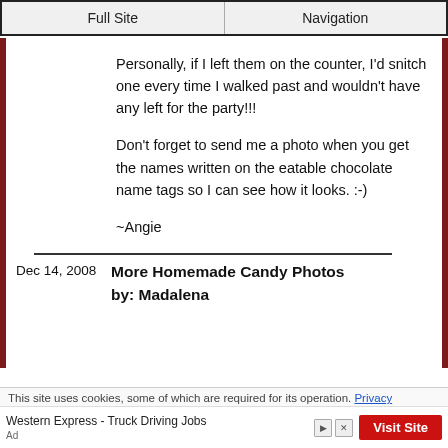Full Site | Navigation
Personally, if I left them on the counter, I'd snitch one every time I walked past and wouldn't have any left for the party!!!

Don't forget to send me a photo when you get the names written on the eatable chocolate name tags so I can see how it looks. :-)

~Angie
Dec 14, 2008   More Homemade Candy Photos by: Madalena
This site uses cookies, some of which are required for its operation. Privacy
Western Express - Truck Driving Jobs  Ad  Visit Site